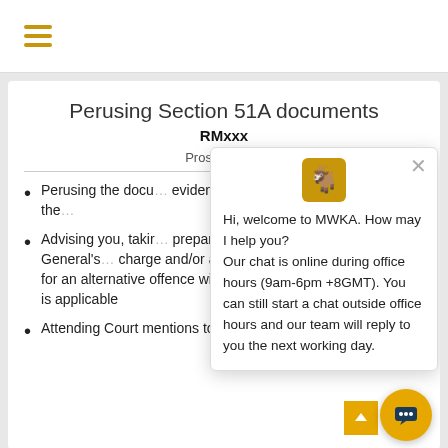Perusing Section 51A documents
RMxxx
Prosecution's
Perusing the documents and evidence supplied … Section 51A of the …
Advising you, taking … preparing a representation to the Attorney-General's … charge and/or amending the charge against you for an alternative offence with a lower punishment, whichever is applicable
Attending Court mentions to update the Court
[Figure (screenshot): Chat popup overlay from MWKA website with goat logo, close button, and welcome message: 'Hi, welcome to MWKA. How may I help you? Our chat is online during office hours (9am-6pm +8GMT). You can still start a chat outside office hours and our team will reply to you the next working day.']